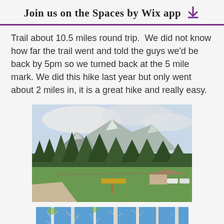Join us on the Spaces by Wix app
Trail about 10.5 miles round trip.  We did not know how far the trail went and told the guys we'd be back by 5pm so we turned back at the 5 mile mark. We did this hike last year but only went about 2 miles in, it is a great hike and really easy.
[Figure (photo): Mountain landscape with green meadow, trees, a sign post, a small building, and parked vehicles in the foreground; snow-capped mountains and cloudy sky in the background.]
[Figure (photo): Blue sky with tall bare white birch/aspen trees in the foreground.]